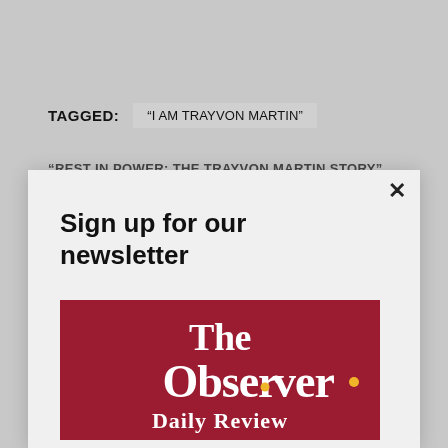TAGGED: “I AM TRAYVON MARTIN”
“REST IN POWER: THE TRAYVON MARTIN STORY”
Sign up for our newsletter
[Figure (logo): The Observer Daily Review logo on dark red/crimson background with white serif text and yellow dots]